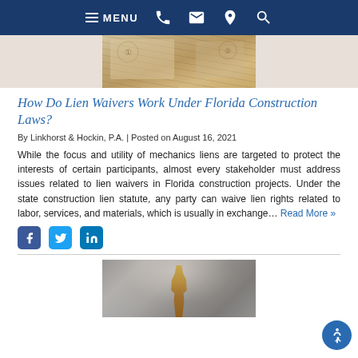MENU [navigation bar with phone, email, location, search icons]
[Figure (photo): Partial photo of construction blueprints or documents, cropped at top]
How Do Lien Waivers Work Under Florida Construction Laws?
By Linkhorst & Hockin, P.A. | Posted on August 16, 2021
While the focus and utility of mechanics liens are targeted to protect the interests of certain participants, almost every stakeholder must address issues related to lien waivers in Florida construction projects. Under the state construction lien statute, any party can waive lien rights related to labor, services, and materials, which is usually in exchange... Read More »
[Figure (other): Social media share icons: Facebook, Twitter, LinkedIn]
[Figure (photo): Photo of a bronze Lady Justice statue with architectural arch background]